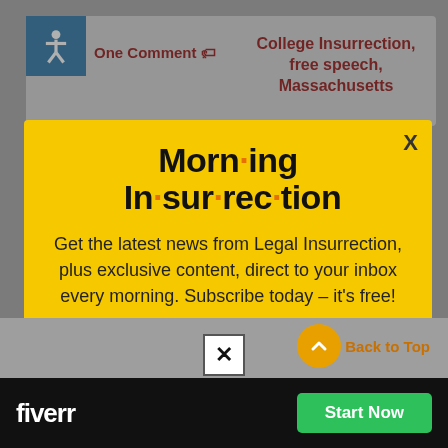One Comment | College Insurrection, free speech, Massachusetts
[Figure (screenshot): Modal popup with yellow background showing Morning Insurrection newsletter signup. Title reads 'Morn·ing In·sur·rec·tion' with orange dots. Body text: 'Get the latest news from Legal Insurrection, plus exclusive content, direct to your inbox every morning. Subscribe today – it's free!' with an orange JOIN NOW button. A close X appears top-right.]
[Figure (screenshot): Bottom ad bar with black background showing fiverr logo and green Start Now button, plus a close X button above and a Back to Top orange circle button.]